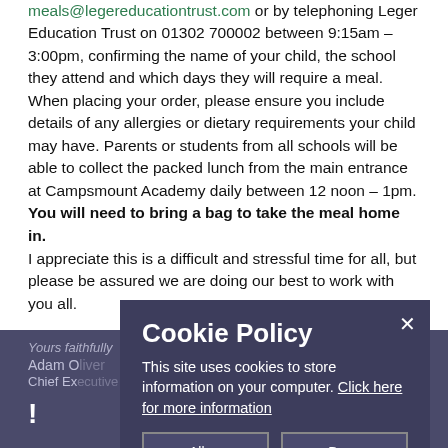meals@legereducationtrust.com or by telephoning Leger Education Trust on 01302 700002 between 9:15am – 3:00pm, confirming the name of your child, the school they attend and which days they will require a meal. When placing your order, please ensure you include details of any allergies or dietary requirements your child may have. Parents or students from all schools will be able to collect the packed lunch from the main entrance at Campsmount Academy daily between 12 noon – 1pm. You will need to bring a bag to take the meal home in.
I appreciate this is a difficult and stressful time for all, but please be assured we are doing our best to work with you all.
Yours faithfully
Adam O...
Chief Ex...
Cookie Policy
This site uses cookies to store information on your computer. Click here for more information
Allow Cookies
Deny Cookies